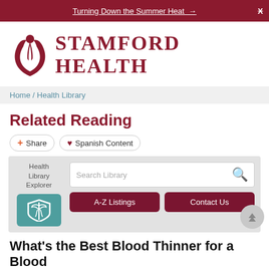Turning Down the Summer Heat →
[Figure (logo): Stamford Health logo with stylized flame/person icon and text 'STAMFORD HEALTH']
Home / Health Library
Related Reading
Share | Spanish Content
[Figure (screenshot): Health Library Explorer widget with search box, A-Z Listings and Contact Us buttons, and a teal medical shield icon]
What's the Best Blood Thinner for a Blood